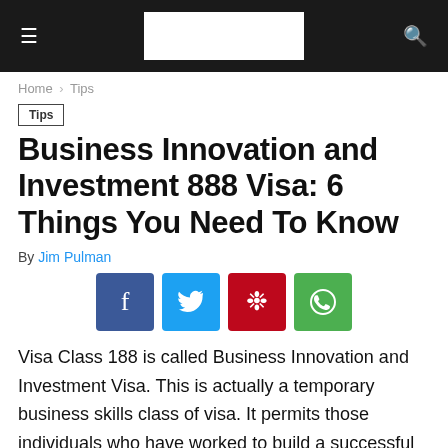[Figure (screenshot): Navigation bar with hamburger menu, white logo box, and search icon on dark background]
Home › Tips
Tips
Business Innovation and Investment 888 Visa: 6 Things You Need To Know
By Jim Pulman
[Figure (infographic): Social share buttons: Facebook, Twitter, Pinterest, WhatsApp]
Visa Class 188 is called Business Innovation and Investment Visa. This is actually a temporary business skills class of visa. It permits those individuals who have worked to build a successful investment career or business to come run a